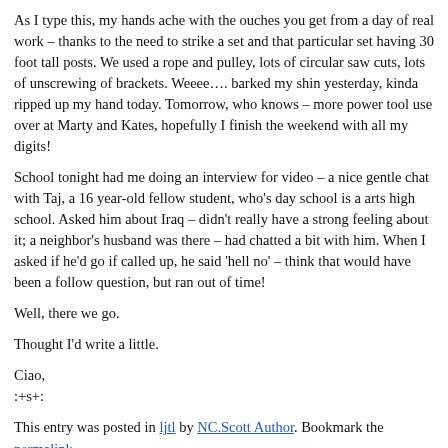As I type this, my hands ache with the ouches you get from a day of real work – thanks to the need to strike a set and that particular set having 30 foot tall posts. We used a rope and pulley, lots of circular saw cuts, lots of unscrewing of brackets. Weeee…. barked my shin yesterday, kinda ripped up my hand today. Tomorrow, who knows – more power tool use over at Marty and Kates, hopefully I finish the weekend with all my digits!
School tonight had me doing an interview for video – a nice gentle chat with Taj, a 16 year-old fellow student, who's day school is a arts high school. Asked him about Iraq – didn't really have a strong feeling about it; a neighbor's husband was there – had chatted a bit with him. When I asked if he'd go if called up, he said 'hell no' – think that would have been a follow question, but ran out of time!
Well, there we go.
Thought I'd write a little.
Ciao,
:+s+:
This entry was posted in ljtl by NC.Scott Author. Bookmark the permalink.
Proudly powered by WordPress